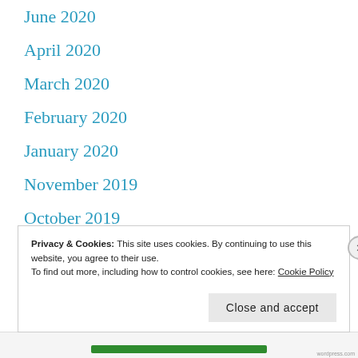June 2020
April 2020
March 2020
February 2020
January 2020
November 2019
October 2019
September 2019
August 2019
Privacy & Cookies: This site uses cookies. By continuing to use this website, you agree to their use.
To find out more, including how to control cookies, see here: Cookie Policy
Close and accept